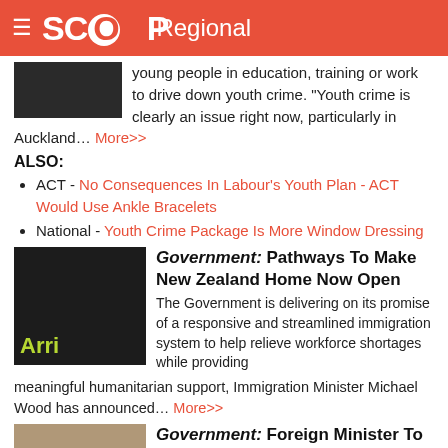SCOOP Regional
young people in education, training or work to drive down youth crime. "Youth crime is clearly an issue right now, particularly in Auckland... More>>
ALSO:
ACT - No Consequences In Labour's Youth Plan - ACT Would Use Ankle Bracelets
National - Youth Crime Is More Window Dressing
[Figure (photo): Arrivals sign at airport]
Government: Pathways To Make New Zealand Home Now Open
The Government is delivering on its promise of a responsive and streamlined immigration system to help relieve workforce shortages while providing meaningful humanitarian support, Immigration Minister Michael Wood has announced... More>>
[Figure (photo): Person portrait photo]
Government: Foreign Minister To Visit Papua New Guinea